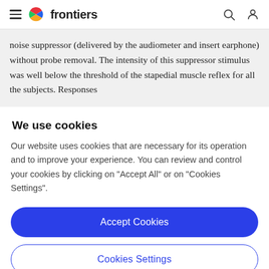frontiers
noise suppressor (delivered by the audiometer and insert earphone) without probe removal. The intensity of this suppressor stimulus was well below the threshold of the stapedial muscle reflex for all the subjects. Responses
We use cookies
Our website uses cookies that are necessary for its operation and to improve your experience. You can review and control your cookies by clicking on "Accept All" or on "Cookies Settings".
Accept Cookies
Cookies Settings